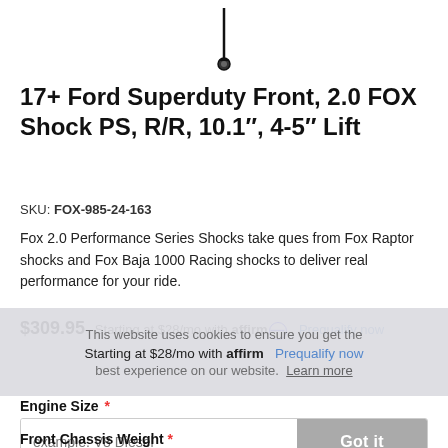[Figure (photo): Partial product image of FOX shock at top of page]
17+ Ford Superduty Front, 2.0 FOX Shock PS, R/R, 10.1", 4-5" Lift
SKU: FOX-985-24-163
Fox 2.0 Performance Series Shocks take ques from Fox Raptor shocks and Fox Baja 1000 Racing shocks to deliver real performance for your ride.
$309.95  Starting at $28/mo with affirm.  Prequalify now
This website uses cookies to ensure you get the best experience on our website.  Learn more
Starting at $28/mo with affirm.  Prequalify now
Engine Size *
example: V8 Diesel
Front Chassis Weight *
If you know your chassis weight, additional options may be available to help the...